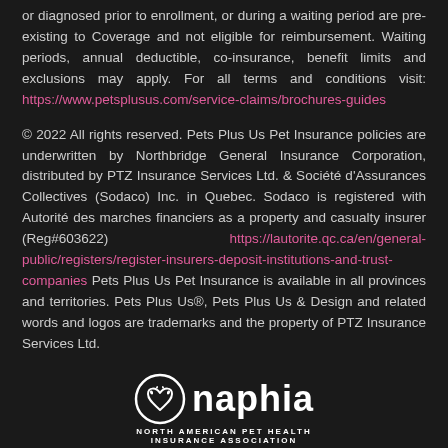or diagnosed prior to enrollment, or during a waiting period are pre-existing to Coverage and not eligible for reimbursement. Waiting periods, annual deductible, co-insurance, benefit limits and exclusions may apply. For all terms and conditions visit: https://www.petsplusus.com/service-claims/brochures-guides
© 2022 All rights reserved. Pets Plus Us Pet Insurance policies are underwritten by Northbridge General Insurance Corporation, distributed by PTZ Insurance Services Ltd. & Société d'Assurances Collectives (Sodaco) Inc. in Quebec. Sodaco is registered with Autorité des marches financiers as a property and casualty insurer (Reg#603622) https://lautorite.qc.ca/en/general-public/registers/register-insurers-deposit-institutions-and-trust-companies Pets Plus Us Pet Insurance is available in all provinces and territories. Pets Plus Us®, Pets Plus Us & Design and related words and logos are trademarks and the property of PTZ Insurance Services Ltd.
[Figure (logo): NAPHIA - North American Pet Health Insurance Association logo with circular icon containing a heart/paw symbol]